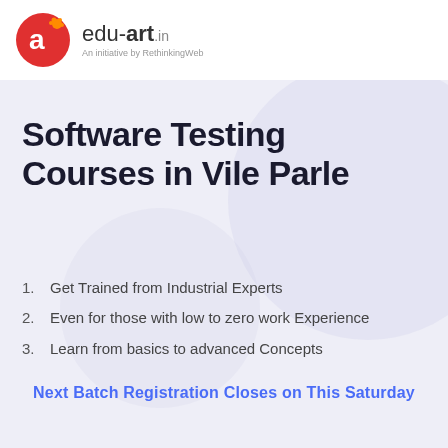[Figure (logo): edu-art.in logo with red circular icon and tagline 'An initiative by RethinkingWeb']
Software Testing Courses in Vile Parle
Get Trained from Industrial Experts
Even for those with low to zero work Experience
Learn from basics to advanced Concepts
Next Batch Registration Closes on This Saturday